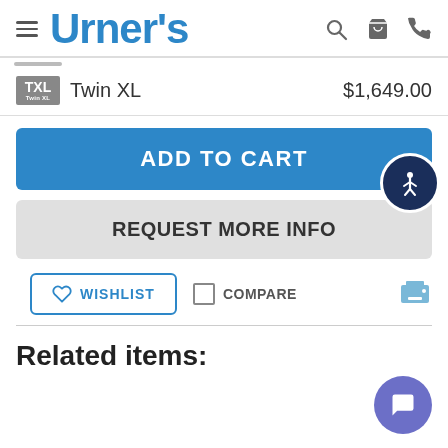Urner's
Twin XL  $1,649.00
ADD TO CART
REQUEST MORE INFO
WISHLIST
COMPARE
Related items: